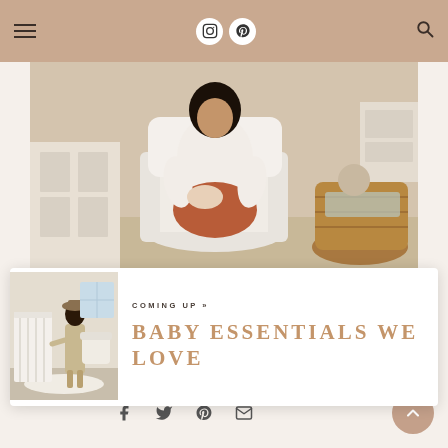Navigation header with hamburger menu, Instagram and Pinterest icons, search icon
[Figure (photo): A woman in a white top and rust-colored skirt sitting in a white armchair, holding a baby, in a nursery room with a wicker basket and white furniture]
[Figure (photo): Thumbnail image of a woman in a nursery room standing next to a white crib]
COMING UP »
BABY ESSENTIALS WE LOVE
[Figure (infographic): Social share bar with Facebook, Twitter, Pinterest, and Email icons]
[Figure (other): Scroll-to-top circular button with upward arrow]